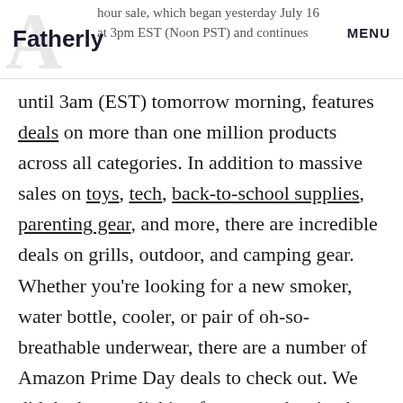Fatherly | MENU | hour sale, which began yesterday July 16 at 3pm EST (Noon PST) and continues
until 3am (EST) tomorrow morning, features deals on more than one million products across all categories. In addition to massive sales on toys, tech, back-to-school supplies, parenting gear, and more, there are incredible deals on grills, outdoor, and camping gear. Whether you're looking for a new smoker, water bottle, cooler, or pair of oh-so-breathable underwear, there are a number of Amazon Prime Day deals to check out. We did the heavy clicking for you and arrived at some of the best Amazon Prime Day deals on grills and outdoor gear. Happy shopping.